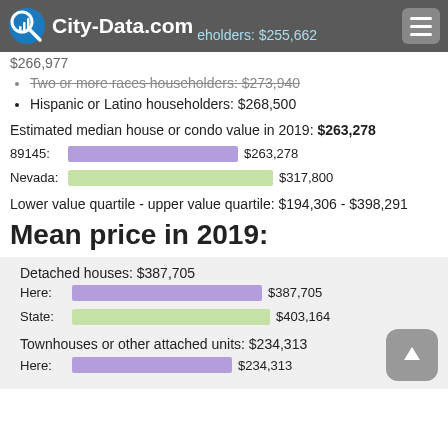City-Data.com
$266,977
eholders: $255,662
Two or more races householders: $273,940
Hispanic or Latino householders: $268,500
Estimated median house or condo value in 2019: $263,278
[Figure (bar-chart): Median house value]
Lower value quartile - upper value quartile: $194,306 - $398,291
Mean price in 2019:
Detached houses: $387,705
[Figure (bar-chart): Mean price detached houses]
Townhouses or other attached units: $234,313
[Figure (bar-chart): Mean price townhouses]